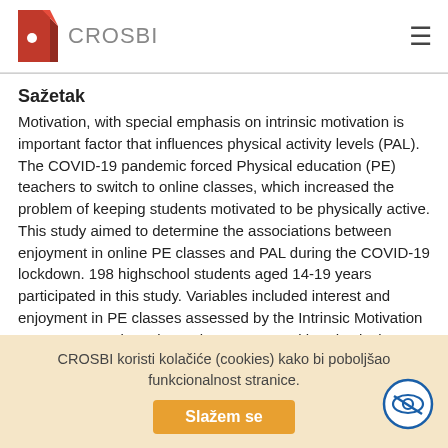CROSBI
Sažetak
Motivation, with special emphasis on intrinsic motivation is important factor that influences physical activity levels (PAL). The COVID-19 pandemic forced Physical education (PE) teachers to switch to online classes, which increased the problem of keeping students motivated to be physically active. This study aimed to determine the associations between enjoyment in online PE classes and PAL during the COVID-19 lockdown. 198 highschool students aged 14-19 years participated in this study. Variables included interest and enjoyment in PE classes assessed by the Intrinsic Motivation Inventory questionnaire and PAL assessed by Physical Activity Questionnaire for Adolescents. Pearson's correlation coefficient was calculated to evaluate the associations between variables. Independent samples T-test and χ2 test were
CROSBI koristi kolačiće (cookies) kako bi poboljšao funkcionalnost stranice.